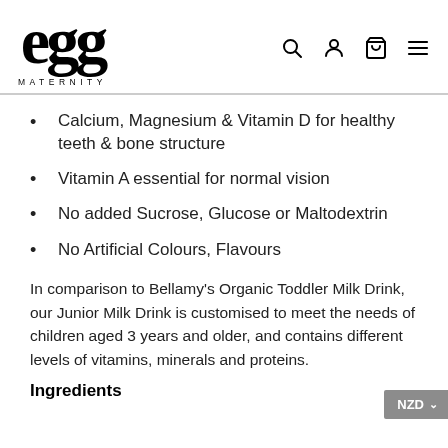[Figure (logo): Egg Maternity logo — stylized 'egg' text in bold serif font with 'MATERNITY' in small caps below]
Calcium, Magnesium & Vitamin D for healthy teeth & bone structure
Vitamin A essential for normal vision
No added Sucrose, Glucose or Maltodextrin
No Artificial Colours, Flavours
In comparison to Bellamy's Organic Toddler Milk Drink, our Junior Milk Drink is customised to meet the needs of children aged 3 years and older, and contains different levels of vitamins, minerals and proteins.
Ingredients